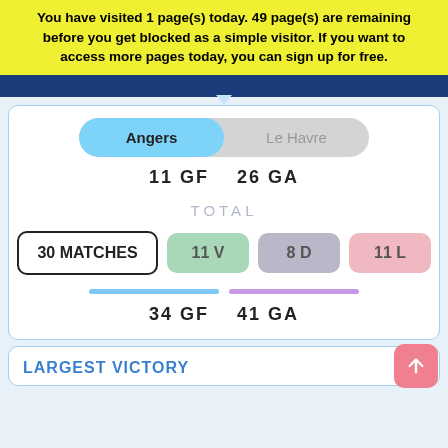You have visited 1 page(s) today. 49 page(s) are remaining before you get blocked as a simple visitor. If you want to access more pages today, you can sign up for free.
[Figure (screenshot): Toggle/tab selector showing Angers (active, blue) and Le Havre (inactive, grey) options]
11 GF   26 GA
TOTAL
30 MATCHES   11 V   8 D   11 L
34 GF   41 GA
LARGEST VICTORY